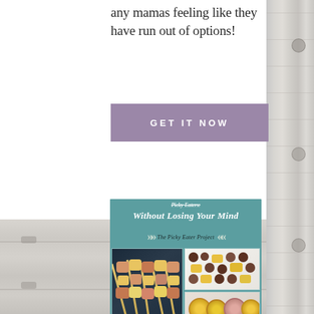any mamas feeling like they have run out of options!
[Figure (other): Button with text 'Get It Now' on a mauve/purple background]
[Figure (other): Promotional book/guide image for 'The Picky Eater Project' on teal background with title 'Without Losing Your Mind', decorative arrows, and food photos showing kebabs, fruit salad, and roasted fruit]
[Figure (photo): White painted wood plank background texture on right side and bottom of page]